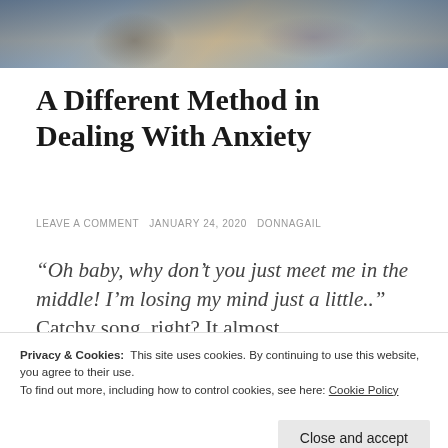[Figure (photo): Partial photo of a person sitting/reclining, showing legs in patterned tights or leggings, cropped at top of page]
A Different Method in Dealing With Anxiety
LEAVE A COMMENT  JANUARY 24, 2020  DONNAGAIL
“Oh baby, why don’t you just meet me in the middle! I’m losing my mind just a little..” Catchy song, right? It almost
Privacy & Cookies:  This site uses cookies. By continuing to use this website, you agree to their use.
To find out more, including how to control cookies, see here: Cookie Policy
“It’s a small world after all. It’s a small